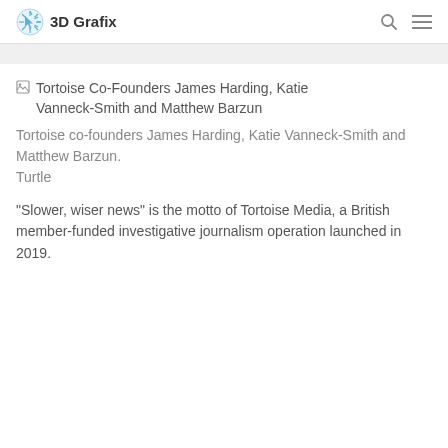3D Grafix
[Figure (illustration): Broken image placeholder with alt text: Tortoise Co-Founders James Harding, Katie Vanneck-Smith and Matthew Barzun]
Tortoise co-founders James Harding, Katie Vanneck-Smith and Matthew Barzun.
Turtle
“Slower, wiser news” is the motto of Tortoise Media, a British member-funded investigative journalism operation launched in 2019.